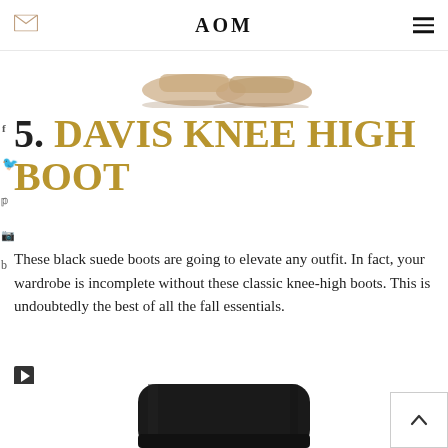AOM
[Figure (photo): Partial image of sandals/shoes at the top of the page, cropped]
5. DAVIS KNEE HIGH BOOT
These black suede boots are going to elevate any outfit. In fact, your wardrobe is incomplete without these classic knee-high boots. This is undoubtedly the best of all the fall essentials.
[Figure (photo): Black knee-high boot, cropped view showing the upper shaft portion of the boot]